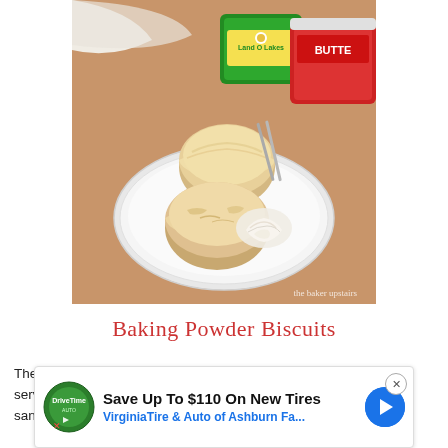[Figure (photo): Photograph of two golden baking powder biscuits on a white plate with butter spread on one, accompanied by two containers of Land O Lakes Butter in the background on a wooden surface. Watermark text reads 'the baker upstairs' at the bottom right.]
Baking Powder Biscuits
These ar... ! We serve the... reakfast sandwic...